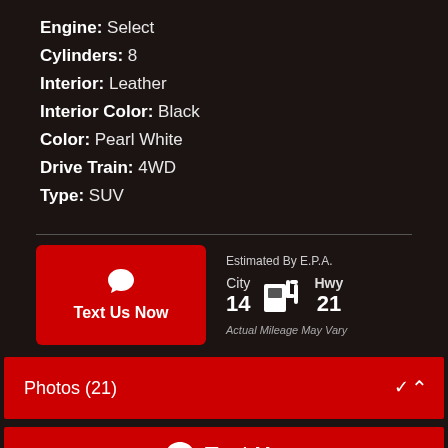Engine: Select
Cylinders: 8
Interior: Leather
Interior Color: Black
Color: Pearl White
Drive Train: 4WD
Type: SUV
[Figure (infographic): EPA fuel economy section showing City 14 mpg and Hwy 21 mpg with a fuel pump icon, alongside a red 'Text Us Now' button with a chat bubble icon. Note: 'Actual Mileage May Vary']
Photos (21)
Text Us